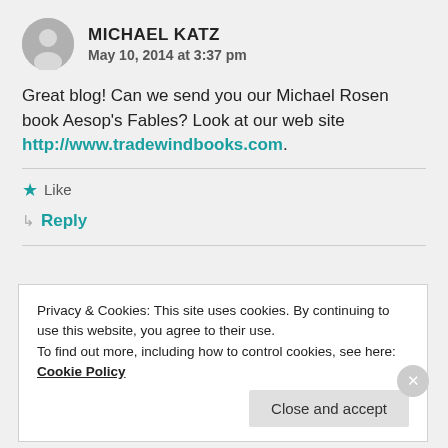MICHAEL KATZ
May 10, 2014 at 3:37 pm
Great blog! Can we send you our Michael Rosen book Aesop's Fables? Look at our web site http://www.tradewindbooks.com.
Like
Reply
Privacy & Cookies: This site uses cookies. By continuing to use this website, you agree to their use.
To find out more, including how to control cookies, see here: Cookie Policy
Close and accept